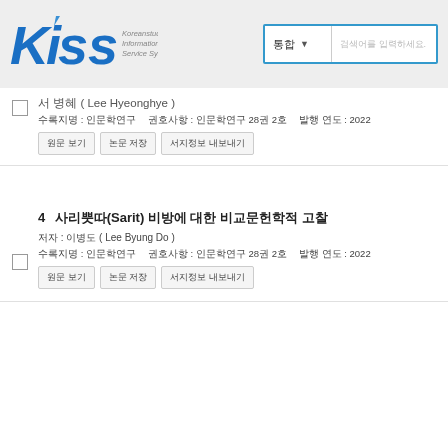[Figure (logo): KISS - Koreanstudies Information Service System logo in blue with italic stylized text]
저자 : 서병혜 ( Lee Hyeonghye ) | 수록지명 : 인문학연구 | 권호사항 : 인문학연구 28권 2호 | 발행 연도 : 2022 | 원문보기 | 논문 저장 | 서지정보내보내기
4 사리뿟따(Sarit) 비방에 대한 비교문헌학적 고찰 | 저자 : 이병도 ( Lee Byung Do ) | 수록지명 : 인문학연구 | 권호사항 : 인문학연구 28권 2호 | 발행 연도 : 2022 | 원문보기 | 논문 저장 | 서지정보내보내기